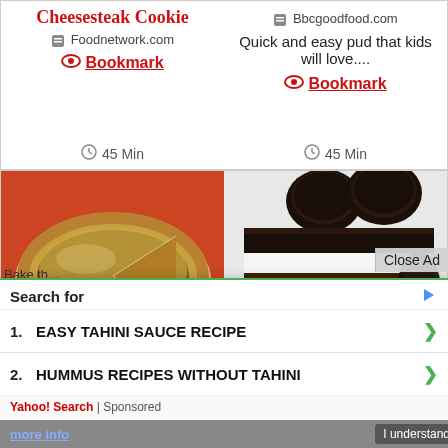Cheesesteak Cookie
Foodnetwork.com
Bookmark
45 Min
Bbcgoodfood.com
Quick and easy pud that kids will love....
Bookmark
45 Min
[Figure (photo): A golden-brown cookie chess pie with a slice removed, on a red background. Shows 64% badge.]
Cookie Chess Pie
Pillsbury.com
[Figure (photo): A layered cookies and cream frozen dessert with Oreo cookies on top, sliced to show white cream and dark chocolate layers. Shows 84% badge.]
Cookies & Cream Freeze
Myrecipes.com
Close Ad
Bake the... using... Cookie... using...
Search for
1.  EASY TAHINI SAUCE RECIPE
2.  HUMMUS RECIPES WITHOUT TAHINI
Yahoo! Search | Sponsored